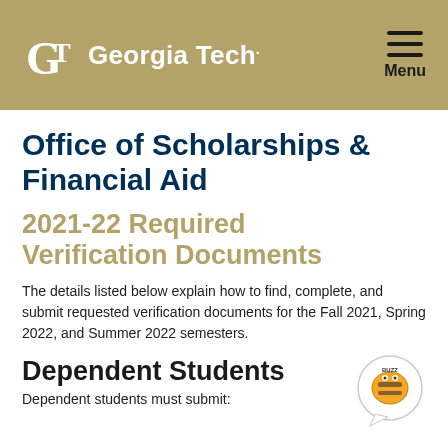Georgia Tech — Office of Scholarships & Financial Aid
Office of Scholarships & Financial Aid
2021-22 Required Verification Documents
The details listed below explain how to find, complete, and submit requested verification documents for the Fall 2021, Spring 2022, and Summer 2022 semesters.
Dependent Students
Dependent students must submit: